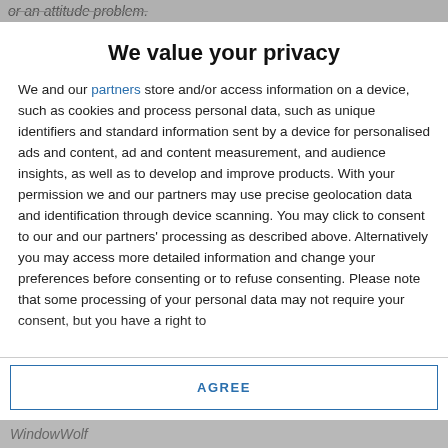or an attitude problem.
We value your privacy
We and our partners store and/or access information on a device, such as cookies and process personal data, such as unique identifiers and standard information sent by a device for personalised ads and content, ad and content measurement, and audience insights, as well as to develop and improve products. With your permission we and our partners may use precise geolocation data and identification through device scanning. You may click to consent to our and our partners' processing as described above. Alternatively you may access more detailed information and change your preferences before consenting or to refuse consenting. Please note that some processing of your personal data may not require your consent, but you have a right to
AGREE
MORE OPTIONS
WindowWolf